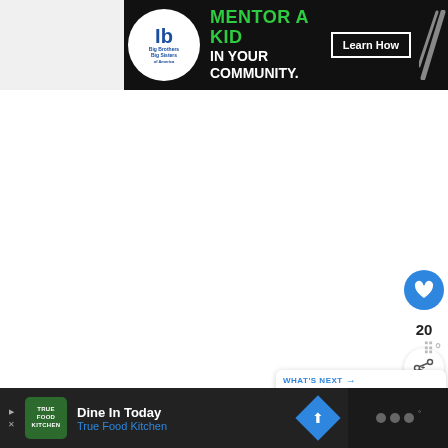[Figure (other): Banner advertisement for Big Brothers Big Sisters: 'MENTOR A KID IN YOUR COMMUNITY.' with a Learn How button, green lines, and diagonal stripe decoration on black background]
[Figure (other): Interactive sidebar UI with a blue heart/like button, like count of 20, and a share button]
[Figure (other): What's Next panel with thumbnail image and text 'Silver Lake Michigan Sa...']
[Figure (other): Bottom advertisement for True Food Kitchen: 'Dine In Today' with logo, blue navigation icon, and close button. Dark background.]
[Figure (other): Bottom right dark panel with dots/logo watermark]